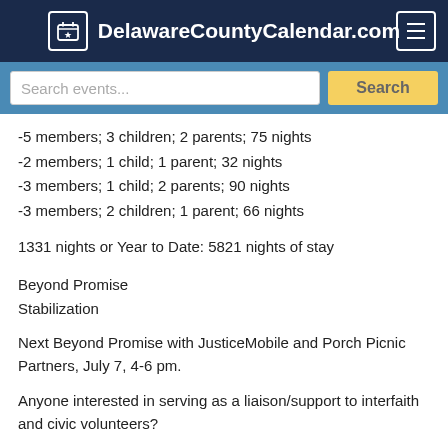DelawareCountyCalendar.com
-5 members; 3 children; 2 parents; 75 nights
-2 members; 1 child; 1 parent; 32 nights
-3 members; 1 child; 2 parents; 90 nights
-3 members; 2 children; 1 parent; 66 nights
1331 nights or Year to Date: 5821 nights of stay
Beyond Promise
Stabilization
Next Beyond Promise with JusticeMobile and Porch Picnic Partners, July 7, 4-6 pm.
Anyone interested in serving as a liaison/support to interfaith and civic volunteers?
With you,
gwyn